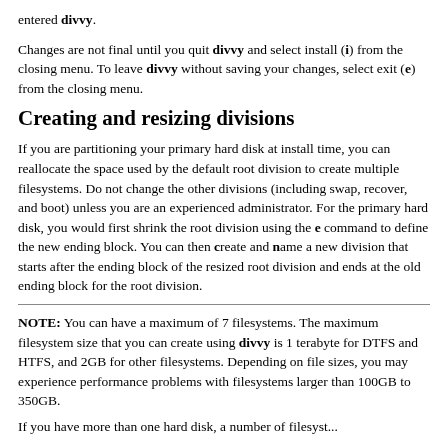entered divvy.
Changes are not final until you quit divvy and select install (i) from the closing menu. To leave divvy without saving your changes, select exit (e) from the closing menu.
Creating and resizing divisions
If you are partitioning your primary hard disk at install time, you can reallocate the space used by the default root division to create multiple filesystems. Do not change the other divisions (including swap, recover, and boot) unless you are an experienced administrator. For the primary hard disk, you would first shrink the root division using the e command to define the new ending block. You can then create and name a new division that starts after the ending block of the resized root division and ends at the old ending block for the root division.
NOTE: You can have a maximum of 7 filesystems. The maximum filesystem size that you can create using divvy is 1 terabyte for DTFS and HTFS, and 2GB for other filesystems. Depending on file sizes, you may experience performance problems with filesystems larger than 100GB to 350GB.
If you have more than one hard disk, a number of filesyst...